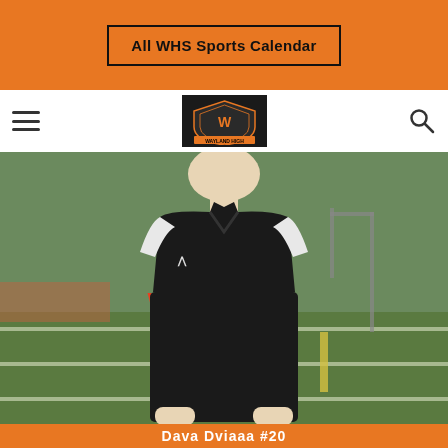All WHS Sports Calendar
[Figure (logo): Wayland High School shield/crest logo on dark background]
[Figure (photo): A male athlete wearing a black Wayland #20 lacrosse jersey with Under Armour branding, standing on a sports field with green turf and goal post visible in background]
Dava Dviaaa #20